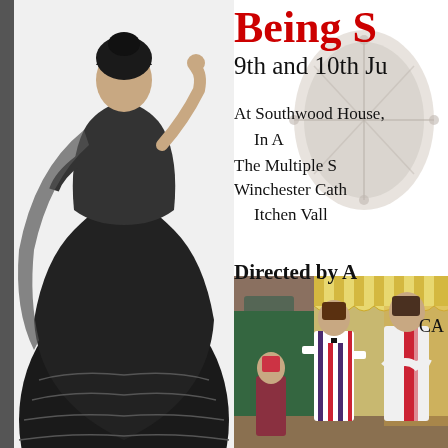[Figure (photo): Black and white photograph of a woman in a Victorian-era ballgown with elaborate details, arm raised]
Being S...
9th and 10th Ju...
At Southwood House,
In A...
The Multiple S...
Winchester Cath...
Itchen Vall...
Directed by A...
CA...
[Figure (photo): Color photograph of three performers in costume on an outdoor stage with striped canopy backdrop]